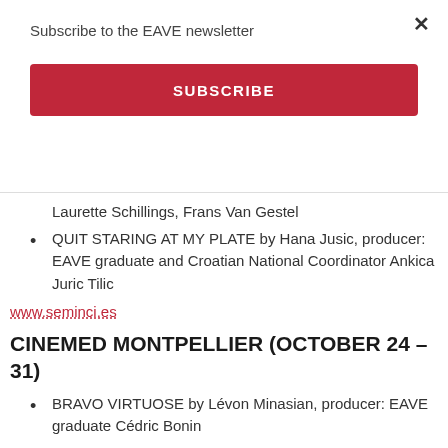Subscribe to the EAVE newsletter
SUBSCRIBE
Laurette Schillings, Frans Van Gestel
QUIT STARING AT MY PLATE by Hana Jusic, producer: EAVE graduate and Croatian National Coordinator Ankica Juric Tilic
www.seminci.es
CINEMED MONTPELLIER (OCTOBER 24 – 31)
BRAVO VIRTUOSE by Lévon Minasian, producer: EAVE graduate Cédric Bonin
NIGHTLIFE by Damjan Kozole, producer: EAVE group leader Danijel Hocevar, co-producers: EAVE graduates